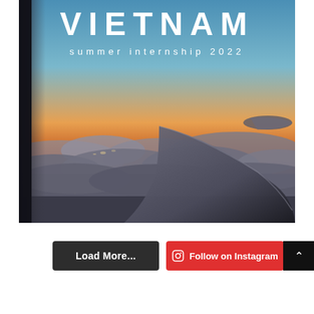[Figure (photo): Aerial view from airplane window showing the aircraft wing over a cloud layer with a warm orange/golden sunset sky above. Text overlay reads 'VIETNAM' in large bold white letters and 'summer internship 2022' in smaller spaced white letters below.]
Load More...
Follow on Instagram
^